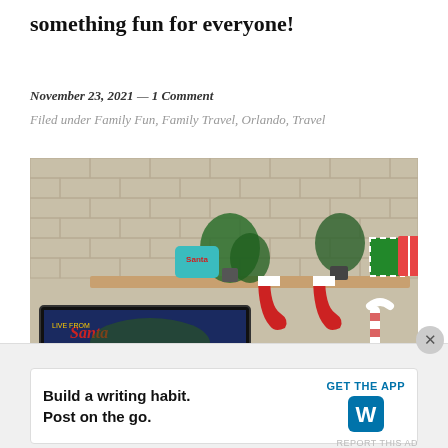something fun for everyone!
November 23, 2021  —  1 Comment
Filed under Family Fun, Family Travel, Orlando, Travel
[Figure (photo): A living room shelf decorated for Christmas with Santa figurines, stockings, wrapped gifts, and plants. In the foreground, a laptop screen displays a Santa tracking website with 'Santa' branding and a map.]
Advertisements
Build a writing habit. Post on the go. GET THE APP